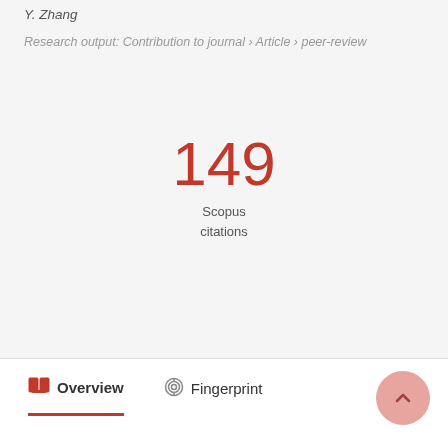Y. Zhang
Research output: Contribution to journal › Article › peer-review
149 Scopus citations
Overview   Fingerprint